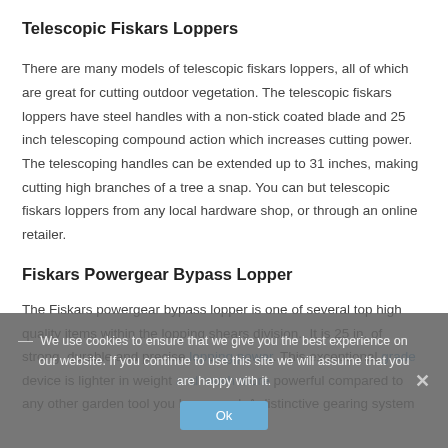Telescopic Fiskars Loppers
There are many models of telescopic fiskars loppers, all of which are great for cutting outdoor vegetation. The telescopic fiskars loppers have steel handles with a non-stick coated blade and 25 inch telescoping compound action which increases cutting power. The telescoping handles can be extended up to 31 inches, making cutting high branches of a tree a snap. You can but telescopic fiskars loppers from any local hardware shop, or through an online retailer.
Fiskars Powergear Bypass Lopper
The Fiskars powergear bypass lopper is one of several top high quality items within the lopping shears division. It is 25 in. of strong, durable and precise lopping power. This exceptional grade device is lighter in weight and much more powerful compared to any other garden tool you have used. A distinctive gearing system
We use cookies to ensure that we give you the best experience on our website. If you continue to use this site we will assume that you are happy with it.